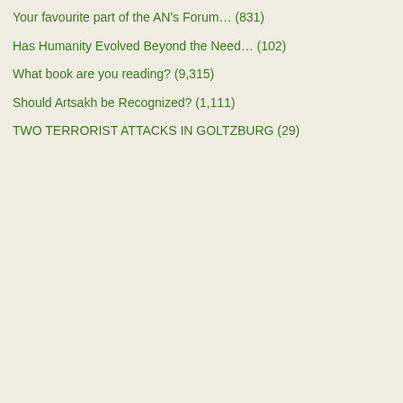Your favourite part of the AN's Forum… (831)
Has Humanity Evolved Beyond the Need… (102)
What book are you reading? (9,315)
Should Artsakh be Recognized? (1,111)
TWO TERRORIST ATTACKS IN GOLTZBURG (29)
ADVERTISEMENT
Remove ads
[Figure (photo): User avatar for Marquesan showing a flag/crest with red and blue design]
Marquesan
Ambassador
Posts: 1843
Founded: Oct 21, 2010
Civil Rights Lovefest
The Marquesan Naval Warship Comm… (Do Not Post)

by Marquesan »
Sat Aug 15, 2020 7:13 pm

Art by My 20…

N "I